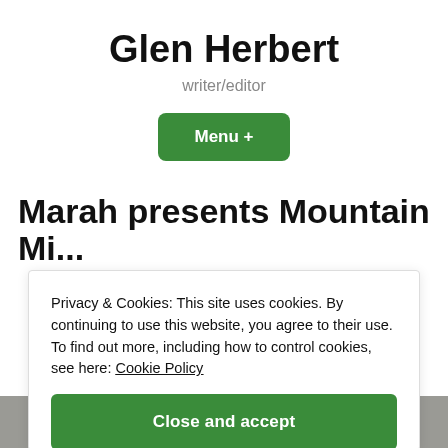Glen Herbert
writer/editor
Menu +
Marah presents Mountain Mi...
Privacy & Cookies: This site uses cookies. By continuing to use this website, you agree to their use.
To find out more, including how to control cookies, see here: Cookie Policy
Close and accept
[Figure (photo): Partial image visible at the bottom of the page, appears to be a newspaper or publication cover]